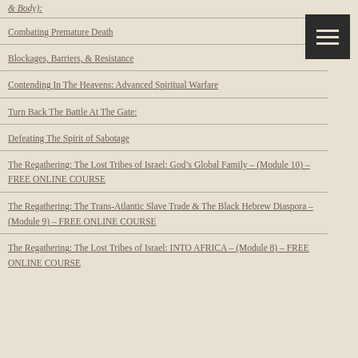& Body):
Combating Premature Death
Blockages, Barriers, & Resistance
Contending In The Heavens: Advanced Spiritual Warfare
Turn Back The Battle At The Gate:
Defeating The Spirit of Sabotage
The Regathering: The Lost Tribes of Israel: God's Global Family – (Module 10) – FREE ONLINE COURSE
The Regathering: The Trans-Atlantic Slave Trade & The Black Hebrew Diaspora – (Module 9) – FREE ONLINE COURSE
The Regathering: The Lost Tribes of Israel: INTO AFRICA – (Module 8) – FREE ONLINE COURSE